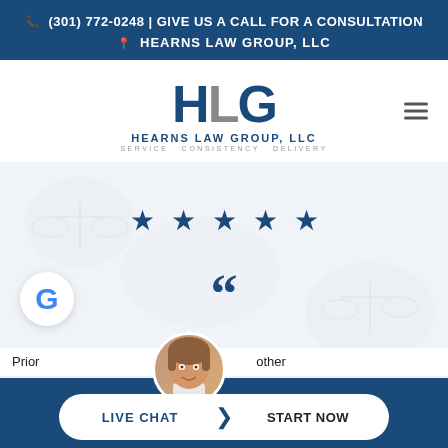(301) 772-0248 | GIVE US A CALL FOR A CONSULTATION
HEARNS LAW GROUP, LLC
[Figure (logo): HLG logo with text HEARNS LAW GROUP, LLC and tagline SERVICE. CONSISTENCY. DELIVERY.]
[Figure (infographic): Five blue stars rating display]
[Figure (infographic): Large blue open quotation marks, Google G badge on left]
Prior... ...other
LIVE CHAT | START NOW